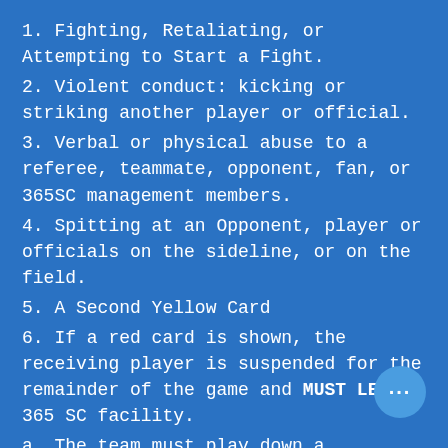1. Fighting, Retaliating, or Attempting to Start a Fight.
2. Violent conduct: kicking or striking another player or official.
3. Verbal or physical abuse to a referee, teammate, opponent, fan, or 365SC management members.
4. Spitting at an Opponent, player or officials on the sideline, or on the field.
5. A Second Yellow Card
6. If a red card is shown, the receiving player is suspended for the remainder of the game and MUST LEAVE 365 SC facility.
a. The team must play down a man/woman for 3 minutes